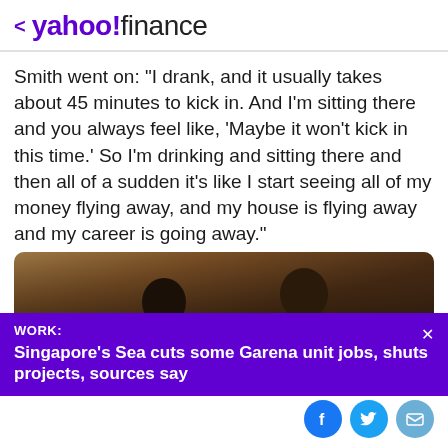< yahoo!finance
Smith went on: "I drank, and it usually takes about 45 minutes to kick in. And I'm sitting there and you always feel like, 'Maybe it won't kick in this time.' So I'm drinking and sitting there and then all of a sudden it's like I start seeing all of my money flying away, and my house is flying away and my career is going away."
[Figure (photo): Two people seen from behind, one appearing to slap the other, dark background]
WORK: Singapore's Sea cuts some Garena unit jobs, shuts projects, sources say